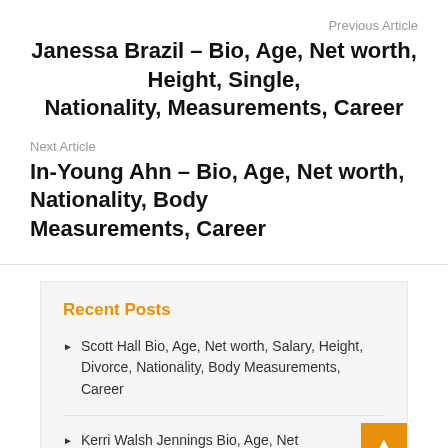Previous Article
Janessa Brazil – Bio, Age, Net worth, Height, Single, Nationality, Measurements, Career
Next Article
In-Young Ahn – Bio, Age, Net worth, Nationality, Body Measurements, Career
Recent Posts
Scott Hall Bio, Age, Net worth, Salary, Height, Divorce, Nationality, Body Measurements, Career
Kerri Walsh Jennings Bio, Age, Net